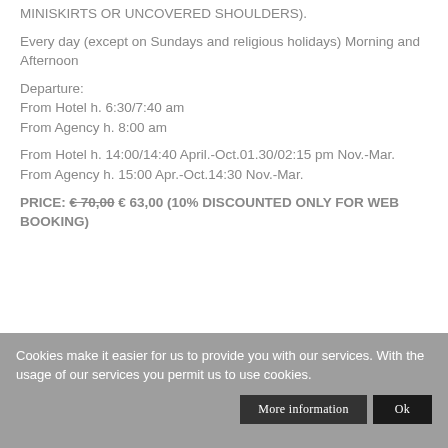MINISKIRTS OR UNCOVERED SHOULDERS).
Every day (except on Sundays and religious holidays) Morning and Afternoon
Departure:
From Hotel h. 6:30/7:40 am
From Agency h. 8:00 am
From Hotel h. 14:00/14:40 April.-Oct.01.30/02:15 pm Nov.-Mar.
From Agency h. 15:00 Apr.-Oct.14:30 Nov.-Mar.
PRICE: €70,00 € 63,00 (10% DISCOUNTED ONLY FOR WEB BOOKING)
Cookies make it easier for us to provide you with our services. With the usage of our services you permit us to use cookies.